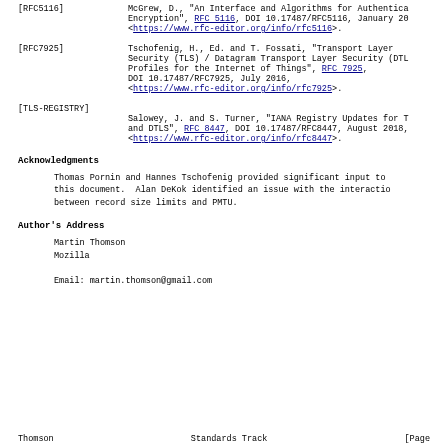[RFC5116]  McGrew, D., "An Interface and Algorithms for Authenticated Encryption", RFC 5116, DOI 10.17487/RFC5116, January 20
<https://www.rfc-editor.org/info/rfc5116>.
[RFC7925]  Tschofenig, H., Ed. and T. Fossati, "Transport Layer Security (TLS) / Datagram Transport Layer Security (DTL Profiles for the Internet of Things", RFC 7925, DOI 10.17487/RFC7925, July 2016,
<https://www.rfc-editor.org/info/rfc7925>.
[TLS-REGISTRY]
           Salowey, J. and S. Turner, "IANA Registry Updates for T and DTLS", RFC 8447, DOI 10.17487/RFC8447, August 2018,
<https://www.rfc-editor.org/info/rfc8447>.
Acknowledgments
Thomas Pornin and Hannes Tschofenig provided significant input to this document.  Alan DeKok identified an issue with the interaction between record size limits and PMTU.
Author's Address
Martin Thomson
Mozilla

Email: martin.thomson@gmail.com
Thomson                         Standards Track                    [Page